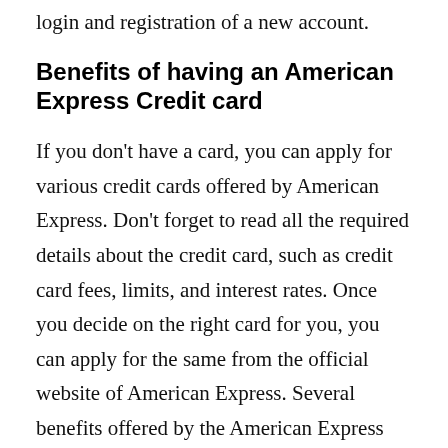login and registration of a new account.
Benefits of having an American Express Credit card
If you don't have a card, you can apply for various credit cards offered by American Express. Don't forget to read all the required details about the credit card, such as credit card fees, limits, and interest rates. Once you decide on the right card for you, you can apply for the same from the official website of American Express. Several benefits offered by the American Express credit cards are as follows –